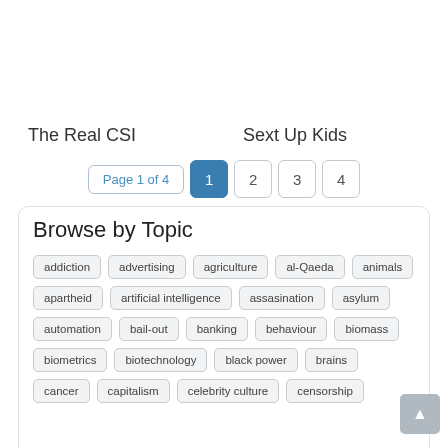[Figure (photo): Two images side by side: left shows a fingerprint/CSI-related image with blue tones, right shows children/fashion related photo collage]
The Real CSI
Sext Up Kids
Page 1 of 4   1   2   3   4
Browse by Topic
addiction
advertising
agriculture
al-Qaeda
animals
apartheid
artificial intelligence
assasination
asylum
automation
bail-out
banking
behaviour
biomass
biometrics
biotechnology
black power
brains
cancer
capitalism
celebrity culture
censorship